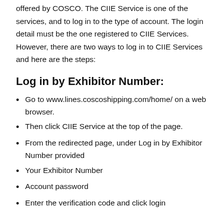offered by COSCO. The CIIE Service is one of the services, and to log in to the type of account. The login detail must be the one registered to CIIE Services. However, there are two ways to log in to CIIE Services and here are the steps:
Log in by Exhibitor Number:
Go to www.lines.coscoshipping.com/home/ on a web browser.
Then click CIIE Service at the top of the page.
From the redirected page, under Log in by Exhibitor Number provided
Your Exhibitor Number
Account password
Enter the verification code and click login